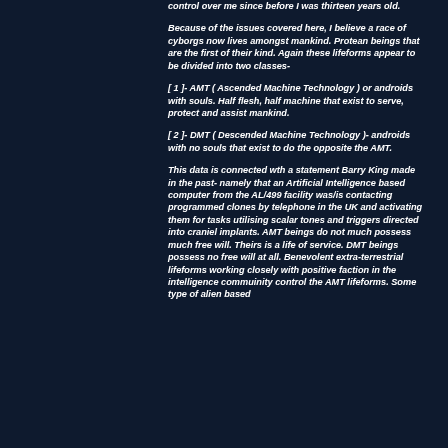control over me since before I was thirteen years old.
Because of the issues covered here, I believe a race of cyborgs now lives amongst mankind. Protean beings that are the first of their kind. Again these lifeforms appear to be divided into two classes-
[ 1 ]- AMT ( Ascended Machine Technology ) or androids with souls. Half flesh, half machine that exist to serve, protect and assist mankind.
[ 2 ]- DMT ( Descended Machine Technology )- androids with no souls that exist to do the opposite the AMT.
This data is connected wth a statement Barry King made in the past- namely that an Artificial Intelligence based computer from the AL/499 facility was/is contacting programmed clones by telephone in the UK and activating them for tasks utilising scalar tones and triggers directed into craniel implants. AMT beings do not much possess much free will. Theirs is a life of service. DMT beings possess no free will at all. Benevolent extra-terrestrial lifeforms working closely with positive faction in the intelligence commuinity control the AMT lifeforms. Some type of alien based